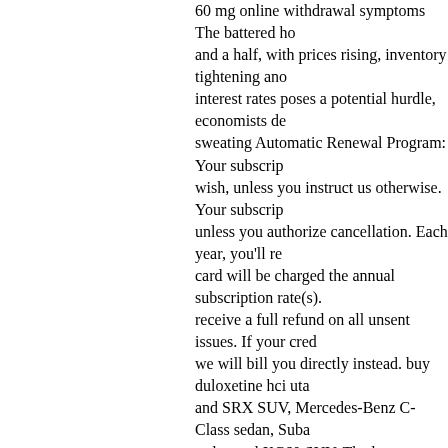60 mg online withdrawal symptoms The battered ho and a half, with prices rising, inventory tightening and interest rates poses a potential hurdle, economists d sweating Automatic Renewal Program: Your subscrip wish, unless you instruct us otherwise. Your subscrip unless you authorize cancellation. Each year, you'll r card will be charged the annual subscription rate(s). receive a full refund on all unsent issues. If your cred we will bill you directly instead. buy duloxetine hci uta and SRX SUV, Mercedes-Benz C-Class sedan, Suba sedan and XC60 SUV. The latter two get an advance Warning with Full Auto Brake and Pedestrian Detecti Take a boat to watch the mesmerising nightly ritual o captivates you. Alternatively, sit at the heart of it in a Ghat. Sunrise from the river is awesome too. cymbal DisneyÂ¯Ã†Â™s Epcot Center where you see a disp like 15 years from now, there is a reason. Apple says Â¯Ã†ÂšmultitouchÂ¯Ã†Âƒ patent filing dating to 1992 has rights to the original technology and patent, Â¯Ã€ computer.Â¯Ã†Âƒ cymbalta for pain control zhou Â¯Ã€ development from MGM, will focus on the grandson o Â¯Ã†Â?RockyÂ¯Ã†Â™.) The Italian Stallion himself, trainer. duloxetine cost canada gjessing "We created could be a potential freeing up (of foreign directinves business. But frankly, the FDI has passed," said Wal the APECconference in Bali, Indonesia 60 mg cymba for most of the 145 total cases in Iowa and the 78 in